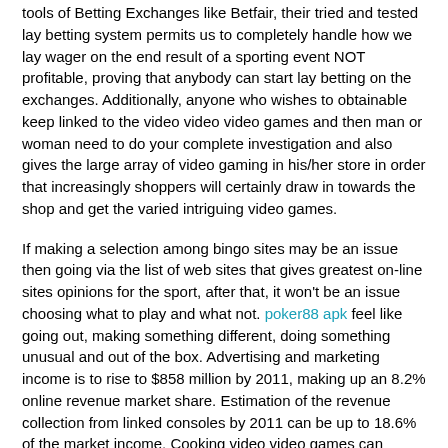tools of Betting Exchanges like Betfair, their tried and tested lay betting system permits us to completely handle how we lay wager on the end result of a sporting event NOT profitable, proving that anybody can start lay betting on the exchanges. Additionally, anyone who wishes to obtainable keep linked to the video video video games and then man or woman need to do your complete investigation and also gives the large array of video gaming in his/her store in order that increasingly shoppers will certainly draw in towards the shop and get the varied intriguing video games.
If making a selection among bingo sites may be an issue then going via the list of web sites that gives greatest on-line sites opinions for the sport, after that, it won't be an issue choosing what to play and what not. poker88 apk feel like going out, making something different, doing something unusual and out of the box. Advertising and marketing income is to rise to $858 million by 2011, making up an 8.2% online revenue market share. Estimation of the revenue collection from linked consoles by 2011 can be up to 18.6% of the market income. Cooking video video games can educate women about cooking fundamentals and provides them above-all info of the foods-service market. People wake up every morning desirous to know the latest info and gossip about the athletes they follow. All they need to do then is choose it up and stroll away; they don't even should say good morning. So, you will need to have this